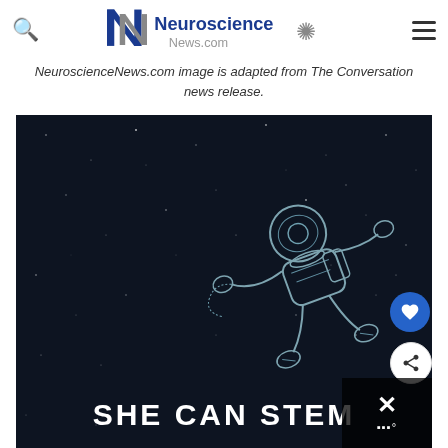Neuroscience News.com
NeuroscienceNews.com image is adapted from The Conversation news release.
[Figure (illustration): Dark space background with a line-art illustration of a floating astronaut in a spacesuit, with 'SHE CAN STEM' text at the bottom in bold white letters. This is from The Conversation news release image.]